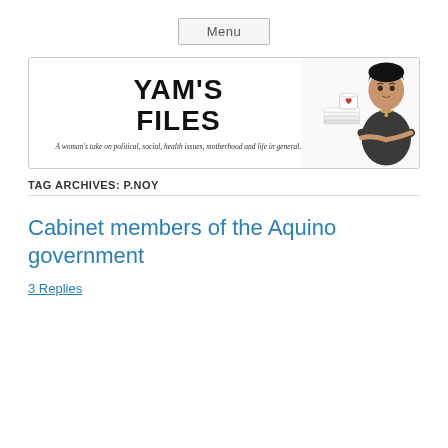Menu
[Figure (illustration): YAM'S FILES blog banner with stylized text logo and illustrated woman in black outfit. Subtitle: A woman's take on political, social, health issues, motherhood and life in general.]
TAG ARCHIVES: P.NOY
Cabinet members of the Aquino government
3 Replies